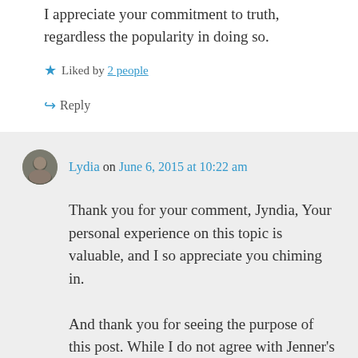I appreciate your commitment to truth, regardless the popularity in doing so.
Liked by 2 people
↳ Reply
Lydia on June 6, 2015 at 10:22 am
Thank you for your comment, Jyndia, Your personal experience on this topic is valuable, and I so appreciate you chiming in.
And thank you for seeing the purpose of this post. While I do not agree with Jenner's decision my point is to address the collective American mindset that labels a personal decision chosen for personal